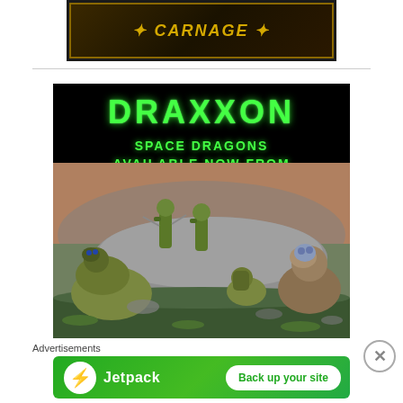[Figure (screenshot): Top banner advertisement with dark background and gold stylized text 'CARNAGE' (partially visible game/product logo)]
[Figure (illustration): DRAXXON Space Dragons advertisement. Black background with large bright green text 'DRAXXON' and subtitle 'SPACE DRAGONS AVAILABLE NOW FROM'. Below is a photo of painted tabletop miniature figures of alien/dragon creatures posed on a rocky terrain base.]
Advertisements
[Figure (screenshot): Jetpack advertisement banner with green gradient background. Shows Jetpack logo (white circle with green lightning bolt) and text 'Jetpack' with a white rounded-rectangle button reading 'Back up your site'.]